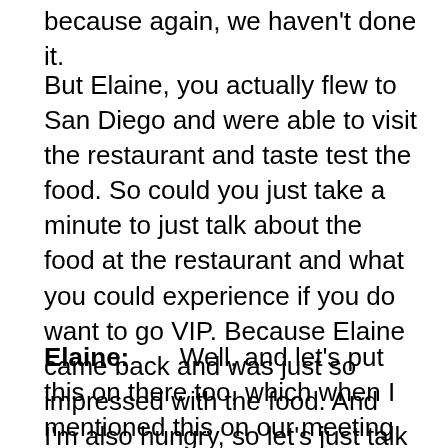because again, we haven't done it.
But Elaine, you actually flew to San Diego and were able to visit the restaurant and taste test the food. So could you just take a minute to just talk about the food at the restaurant and what you could experience if you do want to go VIP. Because Elaine came back and was just so impressed with the food. And I'm also hungry, so let's just talk about the food at this restaurant.
Elaine:       Well, and let's put this on there too, which when I mentioned this on our meeting call yesterday, one of you were like, 'Oh, and you're in New York…' Yeah, I'm in New York, you guys. So I'm used to having lots of food options